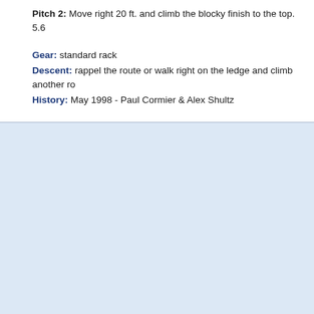Pitch 2: Move right 20 ft. and climb the blocky finish to the top. 5.6
Gear: standard rack
Descent: rappel the route or walk right on the ledge and climb another ro
History: May 1998 - Paul Cormier & Alex Shultz